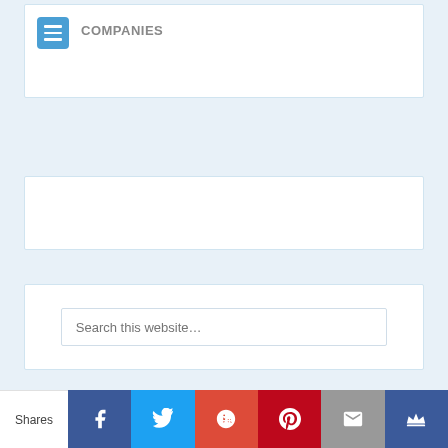COMPANIES
[Figure (screenshot): Empty white content box with light blue border]
[Figure (screenshot): Search box with placeholder text 'Search this website...']
Recent Posts
[Figure (infographic): Social share bar with Shares label, Facebook, Twitter, Google+, Pinterest, Email, and Crown buttons]